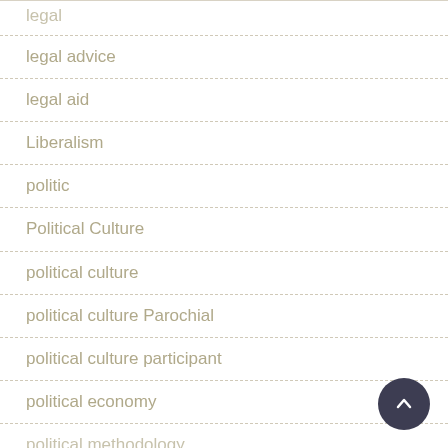legal
legal advice
legal aid
Liberalism
politic
Political Culture
political culture
political culture Parochial
political culture participant
political economy
political methodology